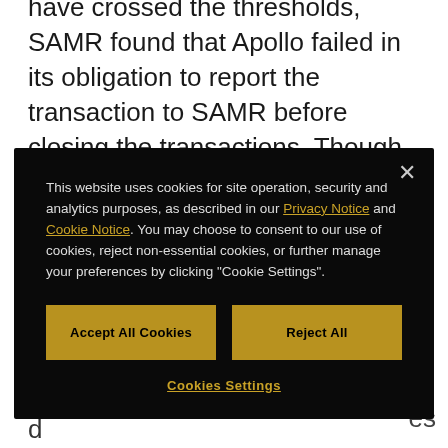have crossed the thresholds, SAMR found that Apollo failed in its obligation to report the transaction to SAMR before closing the transactions. Though SAMR did not find an anti-competition effect, it still fined Apollo RMB 400,000 in each case for failure to report.
This website uses cookies for site operation, security and analytics purposes, as described in our Privacy Notice and Cookie Notice. You may choose to consent to our use of cookies, reject non-essential cookies, or further manage your preferences by clicking "Cookie Settings".
Accept All Cookies
Reject All
Cookies Settings